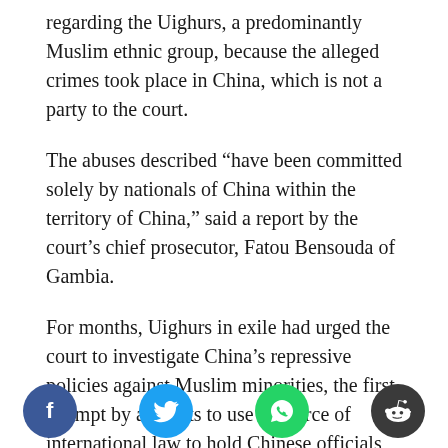regarding the Uighurs, a predominantly Muslim ethnic group, because the alleged crimes took place in China, which is not a party to the court.
The abuses described “have been committed solely by nationals of China within the territory of China,” said a report by the court’s chief prosecutor, Fatou Bensouda of Gambia.
For months, Uighurs in exile had urged the court to investigate China’s repressive policies against Muslim minorities, the first attempt by activists to use the force of international law to hold Chinese officials accountable for the crackdown. They accused the Chinese government of carrying out a campaign of torture, forced sterilization and mass surveillance
[Figure (infographic): Social sharing buttons: Facebook (blue circle with f icon), Twitter (cyan circle with bird icon), WhatsApp (green circle with phone icon), Reddit (dark circle with alien icon)]